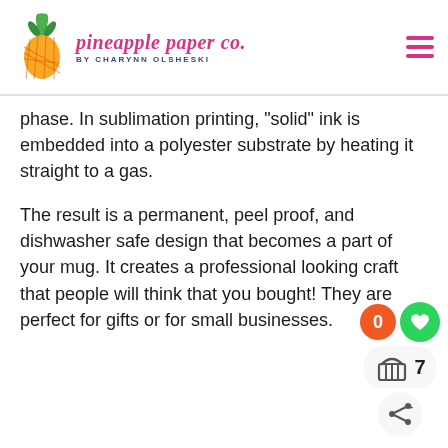pineapple paper co. by CHARYNN OLSHESKI
phase. In sublimation printing, "solid" ink is embedded into a polyester substrate by heating it straight to a gas.
The result is a permanent, peel proof, and dishwasher safe design that becomes a part of your mug. It creates a professional looking craft that people will think that you bought! They are perfect for gifts or for small businesses.
[Figure (screenshot): UI buttons: orange circle with 0, green heart circle, basket icon with 7, and share icon]